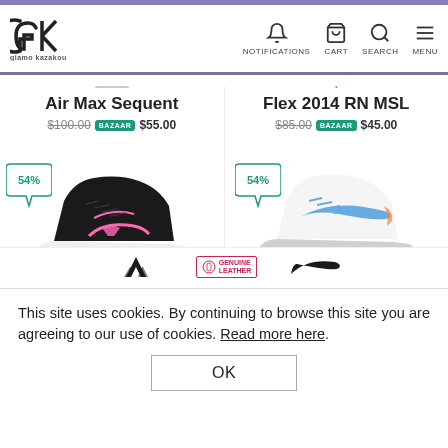GK giamo kazakou — NOTIFICATIONS | CART | SEARCH | MENU
Air Max Sequent
$100.00 BAZAAR $55.00
Flex 2014 RN MSL
$85.00 BAZAAR $45.00
[Figure (photo): Black Under Armour sneaker with pink logo, 54% discount badge]
[Figure (photo): White and blue Nike sneaker, 54% discount badge]
This site uses cookies. By continuing to browse this site you are agreeing to our use of cookies. Read more here.
OK